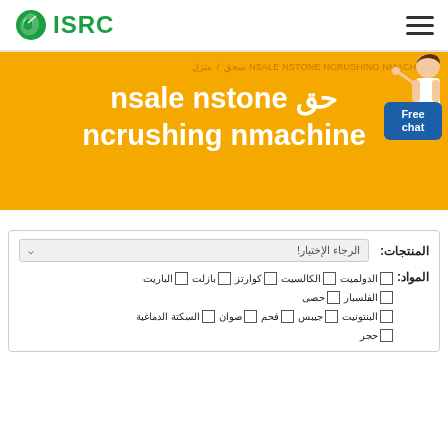ISRC logo and hamburger menu
[Figure (logo): ISRC green leaf logo with text ISRC in green]
حق nsale nstone
ncrushing nmachine
breadcrumb: منزل / NSALE NSTONE NCRUSHING NMACHINE سحق
Free chat button
| المنتجات: | الرجاء الإختيار! |
| --- | --- |
المواد: □ الدولميت □ الكالسيت □ كوارتز □ بازلت □ الباريت □ الفلسبار □ حصى □ البنتونيت □ جيبس □ فحم □ صوان □ السكتة الدماغية □ حجر